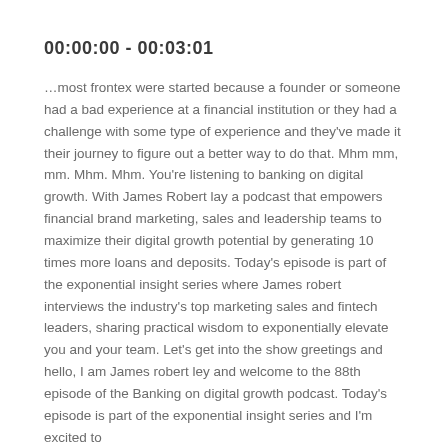00:00:00 - 00:03:01
…most frontex were started because a founder or someone had a bad experience at a financial institution or they had a challenge with some type of experience and they've made it their journey to figure out a better way to do that. Mhm mm, mm. Mhm. Mhm. You're listening to banking on digital growth. With James Robert lay a podcast that empowers financial brand marketing, sales and leadership teams to maximize their digital growth potential by generating 10 times more loans and deposits. Today's episode is part of the exponential insight series where James robert interviews the industry's top marketing sales and fintech leaders, sharing practical wisdom to exponentially elevate you and your team. Let's get into the show greetings and hello, I am James robert ley and welcome to the 88th episode of the Banking on digital growth podcast. Today's episode is part of the exponential insight series and I'm excited to